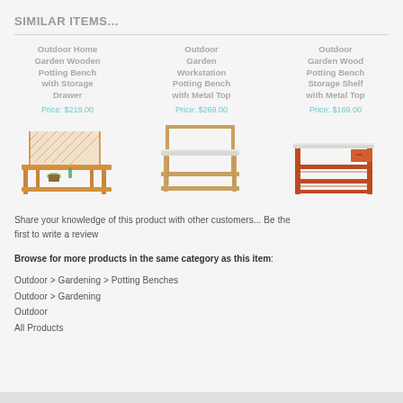SIMILAR ITEMS...
[Figure (photo): Three potting bench products shown side by side: 1) Outdoor Home Garden Wooden Potting Bench with Storage Drawer, Price: $219.00; 2) Outdoor Garden Workstation Potting Bench with Metal Top, Price: $269.00; 3) Outdoor Garden Wood Potting Bench Storage Shelf with Metal Top, Price: $169.00]
Share your knowledge of this product with other customers... Be the first to write a review
Browse for more products in the same category as this item:
Outdoor > Gardening > Potting Benches
Outdoor > Gardening
Outdoor
All Products